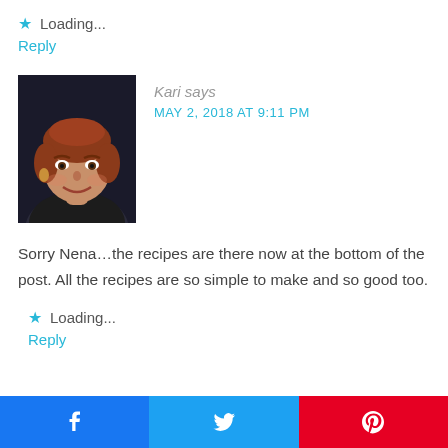Loading...
Reply
[Figure (photo): Profile photo of a woman with short reddish-brown hair, smiling, wearing earrings, dark background]
Kari says
MAY 2, 2018 AT 9:11 PM
Sorry Nena…the recipes are there now at the bottom of the post. All the recipes are so simple to make and so good too.
Loading...
Reply